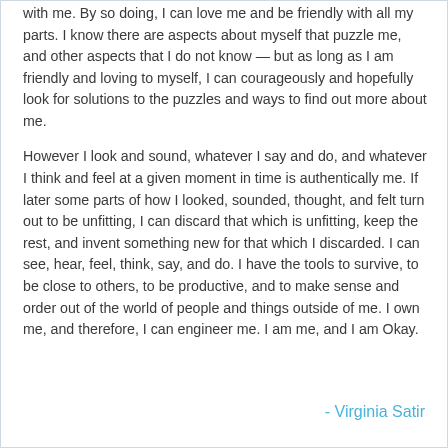with me. By so doing, I can love me and be friendly with all my parts. I know there are aspects about myself that puzzle me, and other aspects that I do not know — but as long as I am friendly and loving to myself, I can courageously and hopefully look for solutions to the puzzles and ways to find out more about me.
However I look and sound, whatever I say and do, and whatever I think and feel at a given moment in time is authentically me. If later some parts of how I looked, sounded, thought, and felt turn out to be unfitting, I can discard that which is unfitting, keep the rest, and invent something new for that which I discarded. I can see, hear, feel, think, say, and do. I have the tools to survive, to be close to others, to be productive, and to make sense and order out of the world of people and things outside of me. I own me, and therefore, I can engineer me. I am me, and I am Okay.
- Virginia Satir